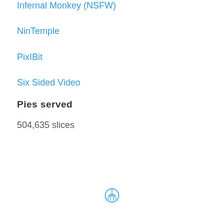Infernal Monkey (NSFW)
NinTemple
PixIBit
Six Sided Video
Pies served
504,635 slices
[Figure (logo): WordPress logo circle icon in teal/blue outline]